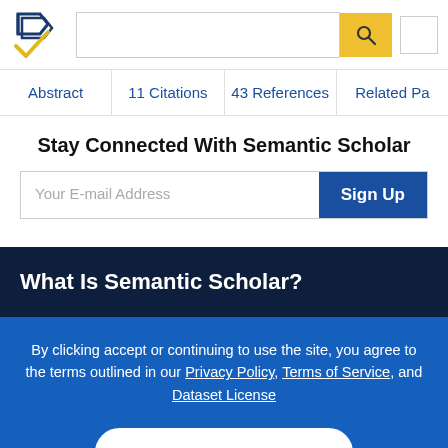Semantic Scholar header navigation with logo, search bar, and search button
Abstract | 11 Citations | 43 References | Related Pa
Stay Connected With Semantic Scholar
Your E-mail Address  Sign Up
What Is Semantic Scholar?
By clicking accept or continuing to use the site, you agree to the terms outlined in our Privacy Policy, Terms of Service, and Dataset License
ACCEPT & CONTINUE